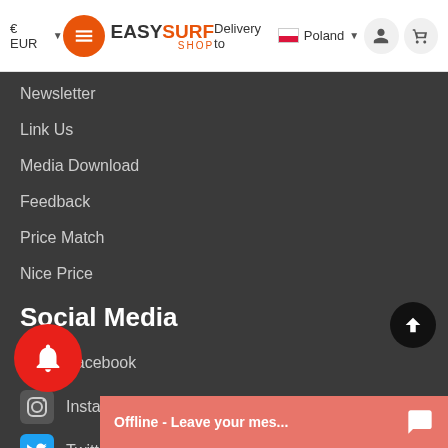€ EUR  Delivery to Poland
[Figure (logo): EasySurf Shop logo with orange hamburger menu button]
Newsletter
Link Us
Media Download
Feedback
Price Match
Nice Price
Social Media
Facebook
Instagram
Twitter
LinkedIn
YouTube